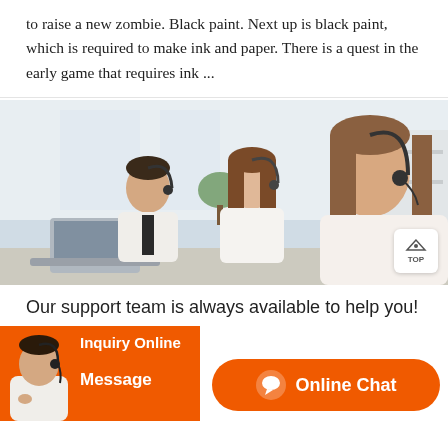to raise a new zombie. Black paint. Next up is black paint, which is required to make ink and paper. There is a quest in the early game that requires ink ...
[Figure (photo): Three call center agents wearing headsets and white shirts sitting at workstations, two women and one man, in a bright office environment. A 'TOP' navigation badge appears in the lower right corner.]
Our support team is always available to help you!
[Figure (infographic): Orange call-to-action bar with a customer service agent image on the left. Contains 'Inquiry Online' and 'Message' labels on an orange background, and an 'Online Chat' button on the right.]